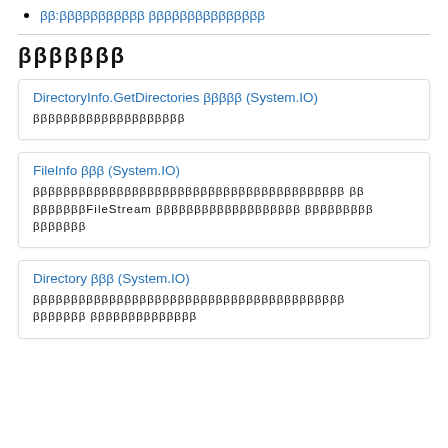ββ:βββββββββββ βββββββββββββββ
βββββββ
DirectoryInfo.GetDirectories βββββ (System.IO)
ββββββββββββββββββββ
FileInfo βββ (System.IO)
ββββββββββββββββββββββββββββββββββββββ ββ βββββββFileStream βββββββββββββββββββ βββββββββ βββββββ
Directory βββ (System.IO)
βββββββββββββββββββββββββββββββββββββββββ βββββββ ββββββββββββββ